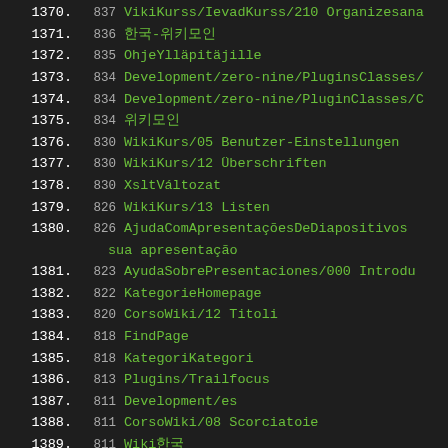1370. 837 VikiKurss/IevadKurss/210 Organizesana
1371. 836 한국-위키모인
1372. 835 OhjeYlläpitäjille
1373. 834 Development/zero-nine/PluginsClasses/
1374. 834 Development/zero-nine/PluginClasses/C
1375. 834 위키모인
1376. 830 WikiKurs/05 Benutzer-Einstellungen
1377. 830 WikiKurs/12 Überschriften
1378. 830 XsltVáltozat
1379. 826 WikiKurs/13 Listen
1380. 826 AjudaComApresentaçõesDeDiapositivos... sua apresentação
1381. 823 AyudaSobrePresentaciones/000 Introdu
1382. 822 KategorieHomepage
1383. 820 CorsoWiki/12 Titoli
1384. 818 FindPage
1385. 818 KategoriKategori
1386. 813 Plugins/Trailfocus
1387. 811 Development/es
1388. 811 CorsoWiki/08 Scorciatoie
1389. 811 Wiki한국
1390. 808 NavegaçãoDoSítio
1391. 803 CategoryCategory
1392. 801 KlasseKlasse
1393. 800 TyöpöytäVersio